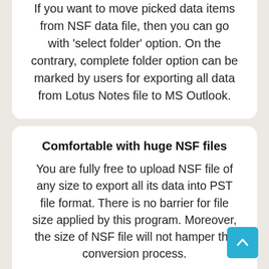If you want to move picked data items from NSF data file, then you can go with 'select folder' option. On the contrary, complete folder option can be marked by users for exporting all data from Lotus Notes file to MS Outlook.
Comfortable with huge NSF files
You are fully free to upload NSF file of any size to export all its data into PST file format. There is no barrier for file size applied by this program. Moreover, the size of NSF file will not hamper the conversion process.